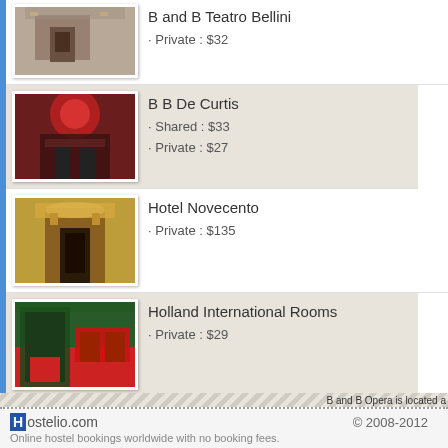B and B Teatro Bellini · Private : $32
B B De Curtis · Shared : $33 · Private : $27
Hotel Novecento · Private : $135
Holland International Rooms · Private : $29
C.C.ly Hostel · Shared : $20 · Private : $65
I Vespri Rooms · Private : $29
B and B Opera is located a
Hostelio.com © 2008-2012 Online hostel bookings worldwide with no booking fees.